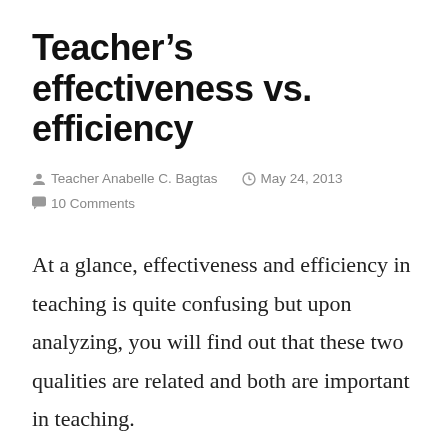Teacher's effectiveness vs. efficiency
Teacher Anabelle C. Bagtas   May 24, 2013   10 Comments
At a glance, effectiveness and efficiency in teaching is quite confusing but upon analyzing, you will find out that these two qualities are related and both are important in teaching.